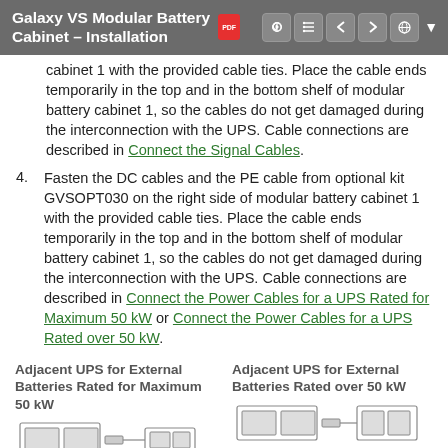Galaxy VS Modular Battery Cabinet – Installation
cabinet 1 with the provided cable ties. Place the cable ends temporarily in the top and in the bottom shelf of modular battery cabinet 1, so the cables do not get damaged during the interconnection with the UPS. Cable connections are described in Connect the Signal Cables.
4. Fasten the DC cables and the PE cable from optional kit GVSOPT030 on the right side of modular battery cabinet 1 with the provided cable ties. Place the cable ends temporarily in the top and in the bottom shelf of modular battery cabinet 1, so the cables do not get damaged during the interconnection with the UPS. Cable connections are described in Connect the Power Cables for a UPS Rated for Maximum 50 kW or Connect the Power Cables for a UPS Rated over 50 kW.
| Adjacent UPS for External Batteries Rated for Maximum 50 kW | Adjacent UPS for External Batteries Rated over 50 kW |
| --- | --- |
| [diagram] | [diagram] |
[Figure (engineering-diagram): Adjacent UPS for External Batteries Rated for Maximum 50 kW - cabinet diagram]
[Figure (engineering-diagram): Adjacent UPS for External Batteries Rated over 50 kW - cabinet diagram]